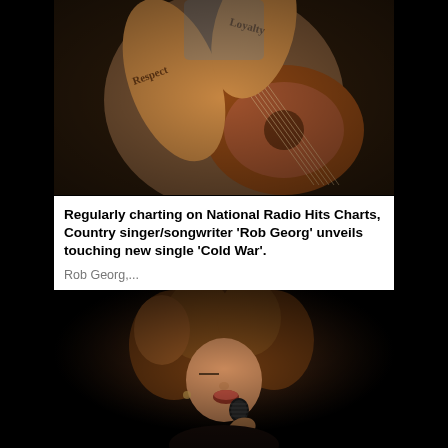[Figure (photo): Close-up photo of a tattooed person holding an acoustic guitar. Tattoos on arms read 'Respect' and 'Loyalty'.]
Regularly charting on National Radio Hits Charts, Country singer/songwriter ‘Rob Georg’ unveils touching new single ‘Cold War’.
Rob Georg,...
[Figure (photo): Close-up photo of a woman with curly hair singing into a microphone on a dark stage.]